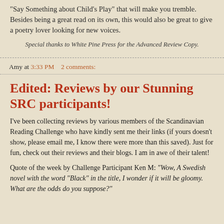"Say Something about Child's Play" that will make you tremble.  Besides being a great read on its own, this would also be great to give a poetry lover looking for new voices.
Special thanks to White Pine Press for the Advanced Review Copy.
Amy at 3:33 PM    2 comments:
Edited: Reviews by our Stunning SRC participants!
I've been collecting reviews by various members of the Scandinavian Reading Challenge who have kindly sent me their links (if yours doesn't show, please email me, I know there were more than this saved).  Just for fun, check out their reviews and their blogs.  I am in awe of their talent!
Quote of the week by Challenge Participant Ken M: "Wow, A Swedish novel with the word "Black" in the title, I wonder if it will be gloomy. What are the odds do you suppose?"